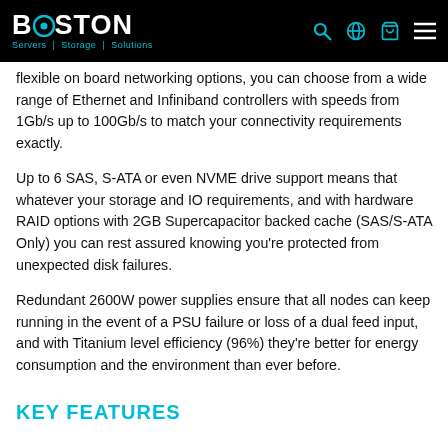Boston Servers | Storage | Solutions
flexible on board networking options, you can choose from a wide range of Ethernet and Infiniband controllers with speeds from 1Gb/s up to 100Gb/s to match your connectivity requirements exactly.
Up to 6 SAS, S-ATA or even NVME drive support means that whatever your storage and IO requirements, and with hardware RAID options with 2GB Supercapacitor backed cache (SAS/S-ATA Only) you can rest assured knowing you're protected from unexpected disk failures.
Redundant 2600W power supplies ensure that all nodes can keep running in the event of a PSU failure or loss of a dual feed input, and with Titanium level efficiency (96%) they're better for energy consumption and the environment than ever before.
KEY FEATURES